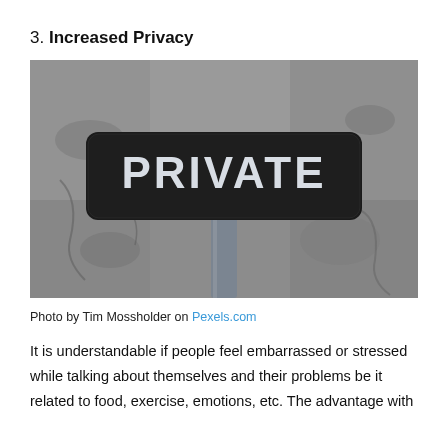3. Increased Privacy
[Figure (photo): A dark metal sign reading 'PRIVATE' in large white stencil letters mounted on a pole against a grey concrete wall background.]
Photo by Tim Mossholder on Pexels.com
It is understandable if people feel embarrassed or stressed while talking about themselves and their problems be it related to food, exercise, emotions, etc. The advantage with